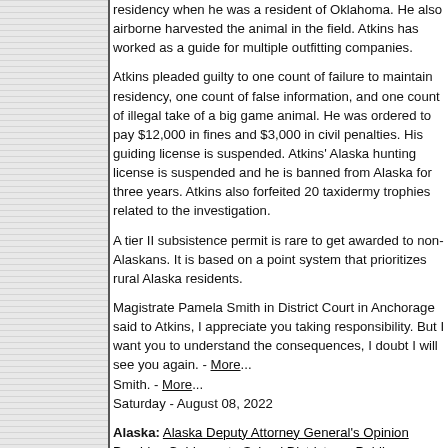residency when he was a resident of Oklahoma. He also airborne harvested the animal in the field. Atkins has worked as a guide for multiple outfitting companies.
Atkins pleaded guilty to one count of failure to maintain residency, one count of false information, and one count of illegal take of a big game animal. He was ordered to pay $12,000 in fines and $3,000 in civil penalties. His guiding license is suspended. Atkins' Alaska hunting license is suspended and he is banned from Alaska for three years. Atkins also forfeited 20 taxidermy trophies related to the investigation.
A tier II subsistence permit is rare to get awarded to non-Alaskans. It is based on a point system that prioritizes rural Alaska residents.
Magistrate Pamela Smith in District Court in Anchorage said to Atkins, I appreciate you taking responsibility. But I want you to understand the consequences, I doubt I will see you again. - More... Smith. - More... Saturday - August 08, 2022
Alaska: Alaska Deputy Attorney General's Opinion Provides Guidance to School Districts on Public Correspondence School Allotments and Private School Uses - Alaska Deputy Attorney General Cori Mills released the Department of Law's opinion on whether publicly funded correspondence schools can pay for services at private schools. The 19-page opinion found that public money may be spent for discrete materials and services from a private school when doing so supports a public correspondence education, but the Alaska Constitution does not permit public allotment funds to pay tuition for full-time...